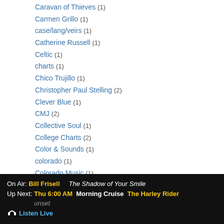Caravan of Thieves (1)
Carmen Grillo (1)
case/lang/veirs (1)
Catherine Russell (1)
Celtic (1)
charts (1)
Chico Trujillo (1)
Christopher Paul Stelling (2)
Clever Blue (1)
CMJ (2)
Collective Soul (1)
College Charts (2)
Color & Sounds (1)
colorado (1)
Colorado Music (1)
Community Radio (1)
On Air: Bill Frisell   The Shadow of Your Smile
Up Next: Thu 6:00 AM   Morning Cruise   The Harley Rider   unset
🎧 Listen Live